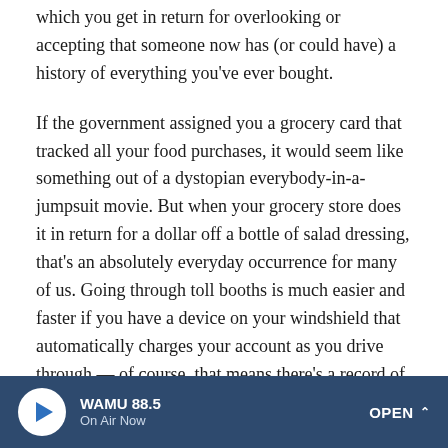which you get in return for overlooking or accepting that someone now has (or could have) a history of everything you've ever bought.

If the government assigned you a grocery card that tracked all your food purchases, it would seem like something out of a dystopian everybody-in-a-jumpsuit movie. But when your grocery store does it in return for a dollar off a bottle of salad dressing, that's an absolutely everyday occurrence for many of us. Going through toll booths is much easier and faster if you have a device on your windshield that automatically charges your account as you drive through — of course, that means there's a record of every time you drove through.

It's a mistake to imagine that all of this is hidden from view;
WAMU 88.5 · On Air Now · OPEN